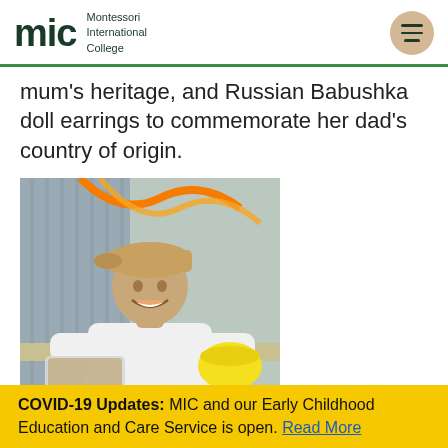mic Montessori International College
mum's heritage, and Russian Babushka doll earrings to commemorate her dad's country of origin.
[Figure (photo): A smiling young boy wearing a tan cap and white t-shirt, holding a food container and a yellow bowl, with orange decorations in the background.]
COVID-19 Updates: MIC and our Early Childhood Education and Care Service is open. Read More